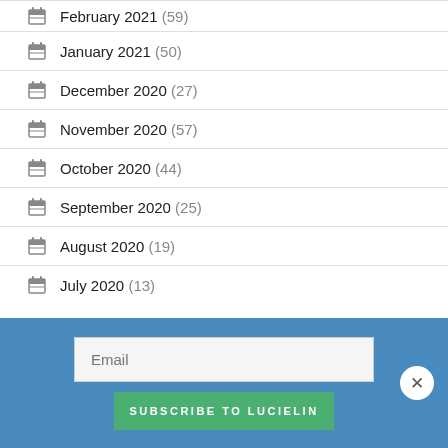February 2021 (59)
January 2021 (50)
December 2020 (27)
November 2020 (57)
October 2020 (44)
September 2020 (25)
August 2020 (19)
July 2020 (13)
Email
SUBSCRIBE TO LUCIELIN